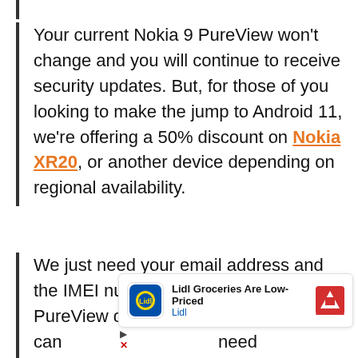Your current Nokia 9 PureView won't change and you will continue to receive security updates. But, for those of you looking to make the jump to Android 11, we're offering a 50% discount on Nokia XR20, or another device depending on regional availability.
We just need your email address and the IMEI number of your Nokia 9 PureView device. You can [partially obscured] need hel [partially obscured] and ste [partially obscured] le
[Figure (other): Lidl advertisement overlay showing Lidl logo, text 'Lidl Groceries Are Low-Priced', 'Lidl' subtext, and a navigation arrow icon. Below: play and close (X) controls.]